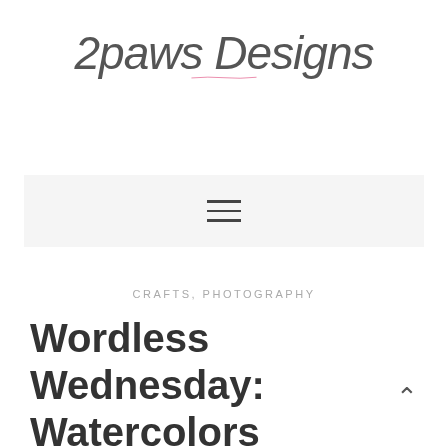[Figure (logo): 2paws Designs logo with handwritten script text and pink underline stroke]
[Figure (other): Hamburger menu icon with three horizontal lines on light gray background bar]
CRAFTS, PHOTOGRAPHY
Wordless Wednesday: Watercolors